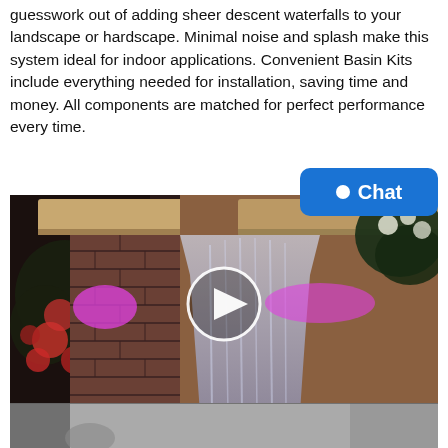guesswork out of adding sheer descent waterfalls to your landscape or hardscape. Minimal noise and splash make this system ideal for indoor applications. Convenient Basin Kits include everything needed for installation, saving time and money. All components are matched for perfect performance every time.
[Figure (photo): Video thumbnail of an outdoor waterfall feature with purple/pink LED lighting on a brick column with stone cap, water cascading down. A circular play button overlay is centered on the image.]
[Figure (photo): Partial bottom thumbnail of another outdoor water feature scene.]